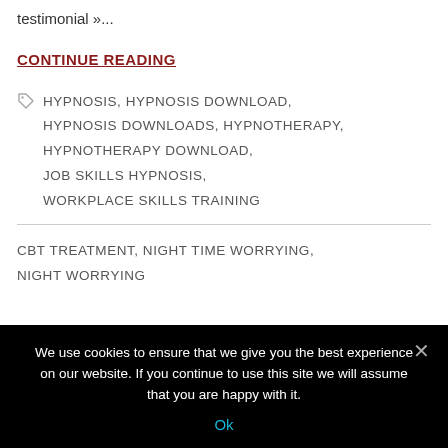testimonial »...
CONTINUE READING
HYPNOSIS, HYPNOSIS DOWNLOAD, HYPNOSIS DOWNLOADS, HYPNOTHERAPY, HYPNOTHERAPY DOWNLOAD, JOB SKILLS HYPNOSIS, WORKPLACE SKILLS TRAINING
CBT TREATMENT, NIGHT TIME WORRYING, NIGHT WORRYING
We use cookies to ensure that we give you the best experience on our website. If you continue to use this site we will assume that you are happy with it.
Ok